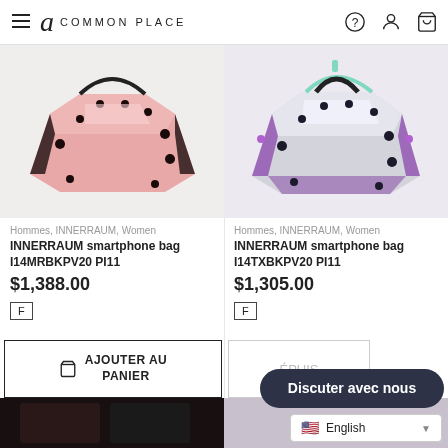Common Place — navigation header with hamburger menu, logo, help, account, and cart icons
[Figure (photo): INNERRAUM pink metallic smartphone bag I14MRBKPV20 PI11 on white background]
[Figure (photo): INNERRAUM silver/purple/teal metallic smartphone bag I14TXBKPV20 PI11 on white background]
Hommes, INNERRAUM, Women
INNERRAUM smartphone bag I14MRBKPV20 PI11
$1,388.00
F
Hommes, INNERRAUM, Women
INNERRAUM smartphone bag I14TXBKPV20 PI11
$1,305.00
F
AJOUTER AU PANIER
ÉPUIS
Discuter avec nous
English